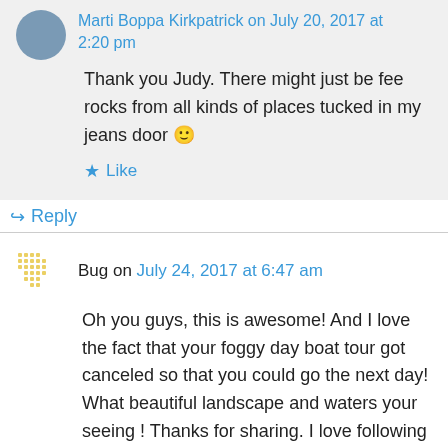Marti Boppa Kirkpatrick on July 20, 2017 at 2:20 pm
Thank you Judy. There might just be fee rocks from all kinds of places tucked in my jeans door 🙂
Like
Reply
Bug on July 24, 2017 at 6:47 am
Oh you guys, this is awesome! And I love the fact that your foggy day boat tour got canceled so that you could go the next day! What beautiful landscape and waters your seeing ! Thanks for sharing. I love following you all!